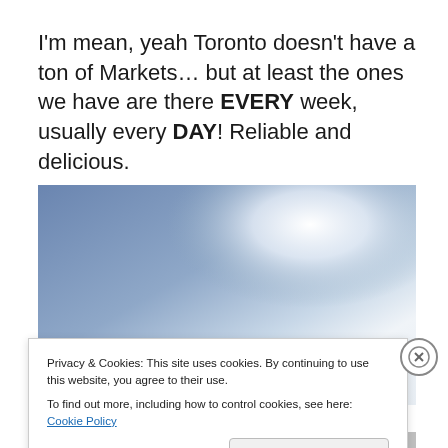I'm mean, yeah Toronto doesn't have a ton of Markets… but at least the ones we have are there EVERY week, usually every DAY! Reliable and delicious.
[Figure (photo): A photo showing a blue sky with bright light in the upper right; lower portion partially obscured by cookie consent banner overlay.]
Privacy & Cookies: This site uses cookies. By continuing to use this website, you agree to their use.
To find out more, including how to control cookies, see here: Cookie Policy